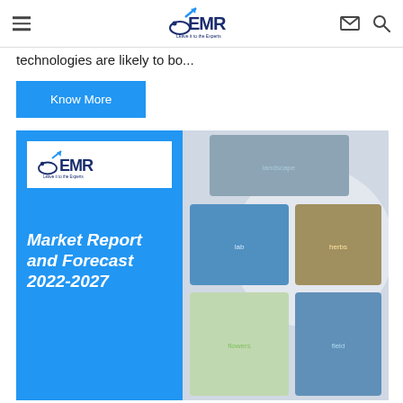EMR — Leave it to the Experts (navigation header)
technologies are likely to bo...
Know More
[Figure (illustration): EMR Market Report and Forecast 2022-2027 promotional banner image showing the EMR logo on a blue background on the left, with a collage of industry photos (microscope, herbs, flowers, landscape) on the right side.]